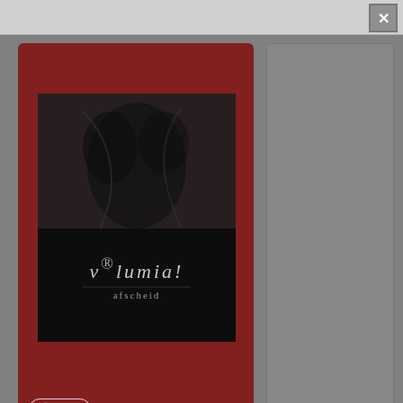[Figure (screenshot): Top navigation bar with a close/dismiss button (X icon) on the right side, gray background]
[Figure (photo): Volumia! album cover for 'afscheid' — dark moody black and white photo with text 'volumia!' and 'afscheid' overlaid, on a dark red card panel with a Pinterest Save button]
Volumia! description
Volumia! was a Top 40 band from They started as a cover band and of Dutch songs. The band existed number of Awards and Golden re members started a solo career. Le solo CD in The Netherlands and B from The Hague played with the C The Corona's. Singer Tamara Hoo TV network L1, sang with the Big B (Santana) and The Jack Million Bar York, Glenn Miller festivals, Clarind dedicated to her jazz career. Mor